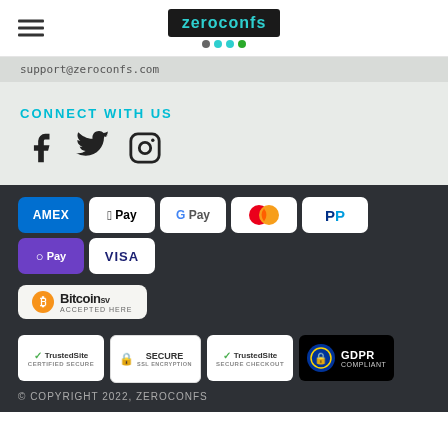zeroconfs
support@zeroconfs.com
CONNECT WITH US
[Figure (illustration): Social media icons: Facebook, Twitter, Instagram]
[Figure (infographic): Payment method badges: AMEX, Apple Pay, G Pay, Mastercard, PayPal, O Pay, VISA, Bitcoin SV Accepted Here]
[Figure (infographic): Trust badges: TrustedSite Certified Secure, Secure SSL Encryption, TrustedSite Secure Checkout, GDPR Compliant]
© COPYRIGHT 2022, ZEROCONFS